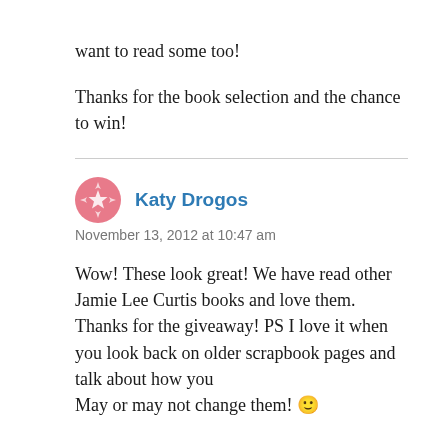want to read some too!
Thanks for the book selection and the chance to win!
Katy Drogos
November 13, 2012 at 10:47 am
Wow! These look great! We have read other Jamie Lee Curtis books and love them. Thanks for the giveaway! PS I love it when you look back on older scrapbook pages and talk about how you May or may not change them! 🙂